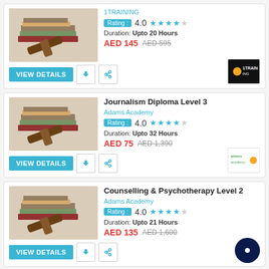[Figure (other): Course listing card 1 (partial): books and gavel image, 1TRAINING provider, Rating 4.0, Duration Upto 20 Hours, AED 145 / AED 595, VIEW DETAILS button, 1TRAINING logo]
[Figure (other): Course listing card 2: Journalism Diploma Level 3 by Adams Academy, Rating 4.0, Duration Upto 32 Hours, AED 75 / AED 1,390, VIEW DETAILS button, Adams Academy logo]
[Figure (other): Course listing card 3: Counselling & Psychotherapy Level 2 by Adams Academy, Rating 4.0, Duration Upto 21 Hours, AED 135 / AED 1,600, VIEW DETAILS button, chat bubble icon]